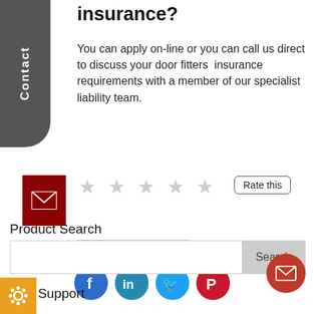insurance?
You can apply on-line or you can call us direct to discuss your door fitters  insurance requirements with a member of our specialist liability team.
[Figure (other): Star rating row with 5 empty stars and a 'Rate this' button]
Share this:
[Figure (other): Social media share icons: Facebook, LinkedIn, Twitter, Pinterest]
Product Search
[Figure (other): Search input box with Search button]
Live Support